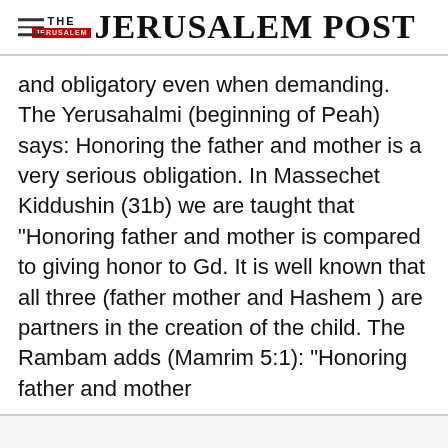THE JERUSALEM POST
and obligatory even when demanding. The Yerusahalmi (beginning of Peah) says: Honoring the father and mother is a very serious obligation. In Massechet Kiddushin (31b) we are taught that "Honoring father and mother is compared to giving honor to Gd. It is well known that all three (father mother and Hashem ) are partners in the creation of the child. The Rambam adds (Mamrim 5:1): "Honoring father and mother
Advertisement